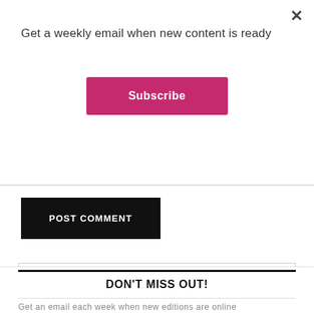Get a weekly email when new content is ready
Subscribe
×
POST COMMENT
Search this website
DON'T MISS OUT!
Get an email each week when new editions are online